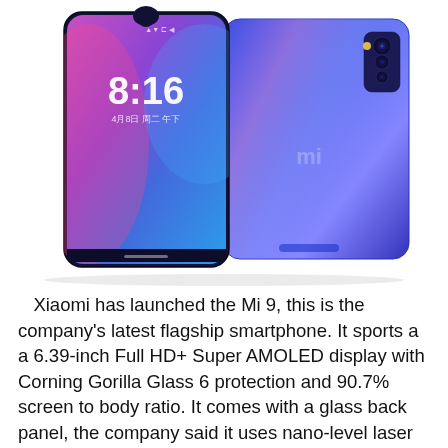[Figure (photo): Photo of two Xiaomi Mi 9 smartphones — one showing the front with a gradient purple-pink-blue AMOLED display showing time 8:16, and one showing the blue glossy back panel with triple camera module, both angled on a white background.]
Xiaomi has launched the Mi 9, this is the company's latest flagship smartphone. It sports a a 6.39-inch Full HD+ Super AMOLED display with Corning Gorilla Glass 6 protection and 90.7% screen to body ratio. It comes with a glass back panel, the company said it uses nano-level laser engraving holographic technology and dual layer nano coating that